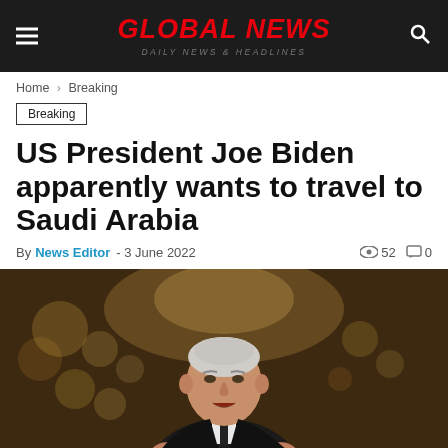GLOBAL NEWS — DAILY NEWS & HEADLINES
Home › Breaking
Breaking
US President Joe Biden apparently wants to travel to Saudi Arabia
By News Editor - 3 June 2022   👁 52  💬 0
[Figure (photo): Photo of US President Joe Biden speaking, wearing a dark suit and tie, with a blurred chandelier background in a formal room.]